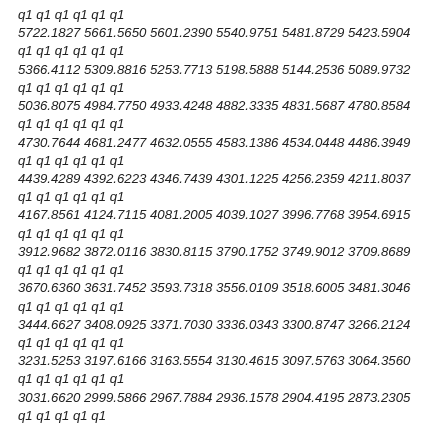q1 q1 q1 q1 q1 q1
5722.1827 5661.5650 5601.2390 5540.9751 5481.8729 5423.5904
q1 q1 q1 q1 q1 q1
5366.4112 5309.8816 5253.7713 5198.5888 5144.2536 5089.9732
q1 q1 q1 q1 q1 q1
5036.8075 4984.7750 4933.4248 4882.3335 4831.5687 4780.8584
q1 q1 q1 q1 q1 q1
4730.7644 4681.2477 4632.0555 4583.1386 4534.0448 4486.3949
q1 q1 q1 q1 q1 q1
4439.4289 4392.6223 4346.7439 4301.1225 4256.2359 4211.8037
q1 q1 q1 q1 q1 q1
4167.8561 4124.7115 4081.2005 4039.1027 3996.7768 3954.6915
q1 q1 q1 q1 q1 q1
3912.9682 3872.0116 3830.8115 3790.1752 3749.9012 3709.8689
q1 q1 q1 q1 q1 q1
3670.6360 3631.7452 3593.7318 3556.0109 3518.6005 3481.3046
q1 q1 q1 q1 q1 q1
3444.6627 3408.0925 3371.7030 3336.0343 3300.8747 3266.2124
q1 q1 q1 q1 q1 q1
3231.5253 3197.6166 3163.5554 3130.4615 3097.5763 3064.3560
q1 q1 q1 q1 q1 q1
3031.6620 2999.5866 2967.7884 2936.1578 2904.4195 2873.2305
q1 q1 q1 q1 q1